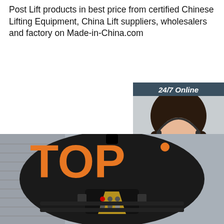Post Lift products in best price from certified Chinese Lifting Equipment, China Lift suppliers, wholesalers and factory on Made-in-China.com
[Figure (screenshot): Orange 'Get Price' button]
[Figure (screenshot): 24/7 Online chat panel with customer service agent photo and 'Click here for free chat!' text and orange QUOTATION button]
[Figure (logo): BEC brand logo with CE certification marks]
[Figure (photo): Photo of a black post lift product top view with control panel, placed over aluminum ramp background. TOP badge in lower right area.]